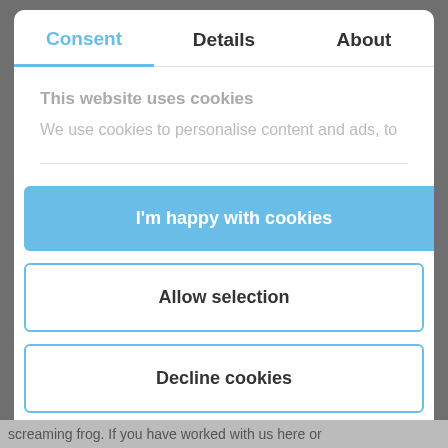[Figure (screenshot): Cookie consent modal dialog with three tabs: Consent (active, highlighted in blue), Details, and About. Below the tabs is the text 'This website uses cookies' and partial text 'We use cookies to personalise content and ads, to'. Three buttons follow: 'I'm happy with cookies' (blue filled), 'Allow selection' (outlined), 'Decline cookies' (outlined). Footer shows 'Powered by Cookiebot by Usercentrics'.]
screaming frog. If you have worked with us here or